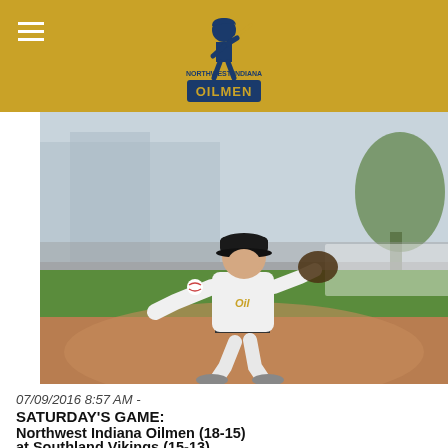Northwest Indiana Oilmen
[Figure (photo): Baseball player in white Northwest Indiana Oilmen uniform throwing a ball on a baseball field]
07/09/2016 8:57 AM -
SATURDAY'S GAME:
Northwest Indiana Oilmen (18-15)
at Southland Vikings (15-13)